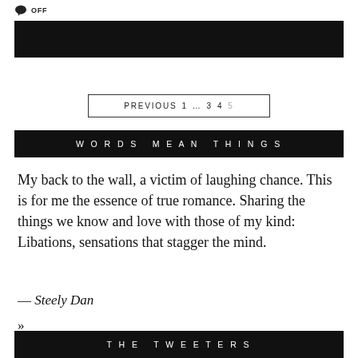OFF
[Figure (other): Black banner image at top of page]
PREVIOUS 1 ... 3 4 5
WORDS MEAN THINGS
My back to the wall, a victim of laughing chance. This is for me the essence of true romance. Sharing the things we know and love with those of my kind: Libations, sensations that stagger the mind.
— Steely Dan
»
THE TWEETERS